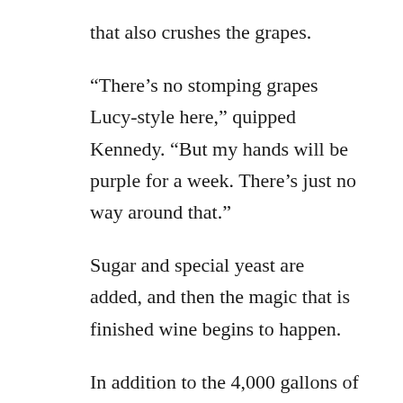that also crushes the grapes.
“There’s no stomping grapes Lucy-style here,” quipped Kennedy. “But my hands will be purple for a week. There’s just no way around that.”
Sugar and special yeast are added, and then the magic that is finished wine begins to happen.
In addition to the 4,000 gallons of wine produced at Christine’s Vineyard, the business has also partnered with St. James Winery to serve their exceptional sweet and fruit wines on tap. Kennedy reported the grape growers in the area work together and help each other.